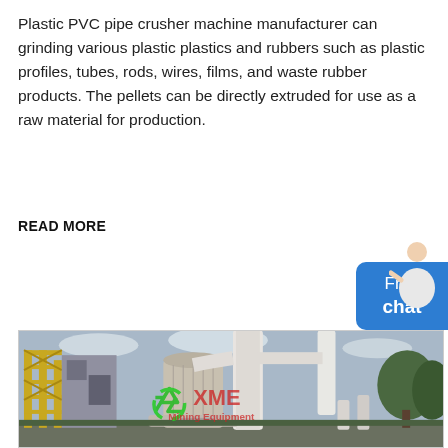Plastic PVC pipe crusher machine manufacturer can grinding various plastic plastics and rubbers such as plastic profiles, tubes, rods, wires, films, and waste rubber products. The pellets can be directly extruded for use as a raw material for production.
READ MORE
[Figure (photo): Industrial grinding/milling machine facility exterior photograph with large white cylindrical equipment, pipes, scaffolding, and XME (Mining Equipment) watermark logo in green and red]